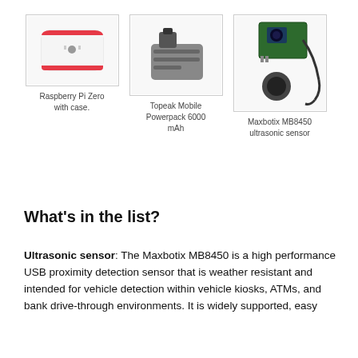[Figure (photo): Raspberry Pi Zero with red and white case]
Raspberry Pi Zero with case.
[Figure (photo): Topeak Mobile Powerpack 6000 mAh battery]
Topeak Mobile Powerpack 6000 mAh
[Figure (photo): Maxbotix MB8450 ultrasonic sensor with cable]
Maxbotix MB8450 ultrasonic sensor
What's in the list?
Ultrasonic sensor: The Maxbotix MB8450 is a high performance USB proximity detection sensor that is weather resistant and intended for vehicle detection within vehicle kiosks, ATMs, and bank drive-through environments. It is widely supported, easy